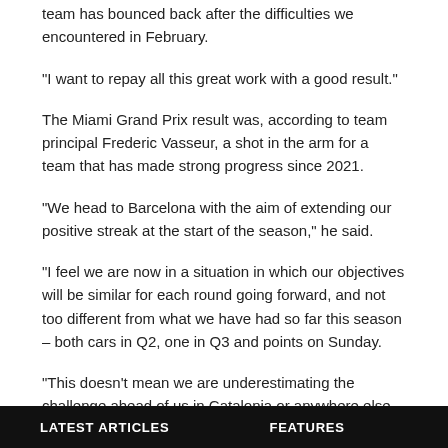team has bounced back after the difficulties we encountered in February.
"I want to repay all this great work with a good result."
The Miami Grand Prix result was, according to team principal Frederic Vasseur, a shot in the arm for a team that has made strong progress since 2021.
"We head to Barcelona with the aim of extending our positive streak at the start of the season," he said.
"I feel we are now in a situation in which our objectives will be similar for each round going forward, and not too different from what we have had so far this season – both cars in Q2, one in Q3 and points on Sunday.
"This doesn't mean we are underestimating the challenge ahead of us in Catalonia or anywhere else.
LATEST ARTICLES   FEATURES